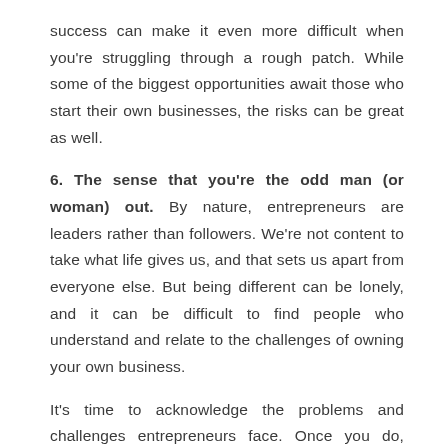success can make it even more difficult when you're struggling through a rough patch. While some of the biggest opportunities await those who start their own businesses, the risks can be great as well.
6. The sense that you're the odd man (or woman) out. By nature, entrepreneurs are leaders rather than followers. We're not content to take what life gives us, and that sets us apart from everyone else. But being different can be lonely, and it can be difficult to find people who understand and relate to the challenges of owning your own business.
It's time to acknowledge the problems and challenges entrepreneurs face. Once you do, you'll realize that